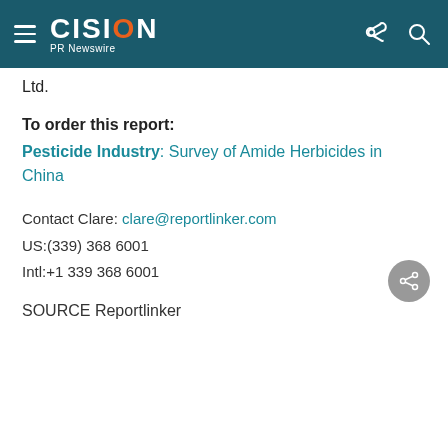CISION PR Newswire
Ltd.
To order this report:
Pesticide Industry: Survey of Amide Herbicides in China
Contact Clare: clare@reportlinker.com
US:(339) 368 6001
Intl:+1 339 368 6001
SOURCE Reportlinker